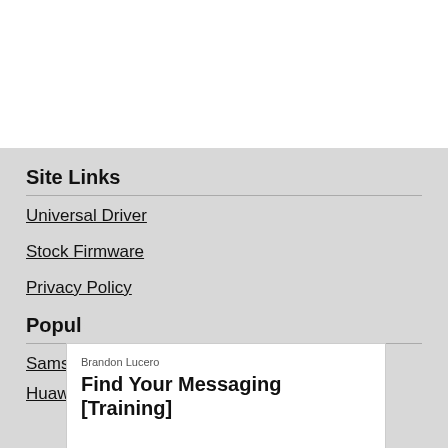Site Links
Universal Driver
Stock Firmware
Privacy Policy
Popular
Sams
Huaw
[Figure (screenshot): Advertisement overlay showing 'Brandon Lucero - Find Your Messaging [Training]' with an Open button and social media icons]